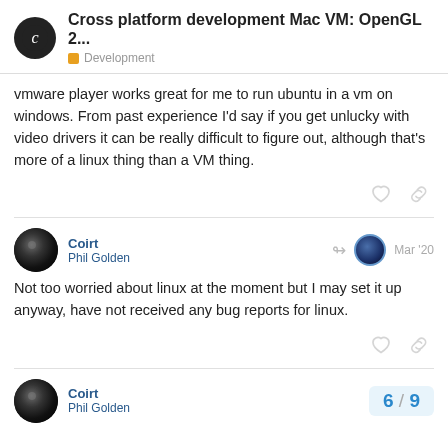Cross platform development Mac VM: OpenGL 2... | Development
vmware player works great for me to run ubuntu in a vm on windows. From past experience I'd say if you get unlucky with video drivers it can be really difficult to figure out, although that's more of a linux thing than a VM thing.
Coirt | Phil Golden | Mar '20
Not too worried about linux at the moment but I may set it up anyway, have not received any bug reports for linux.
Coirt | Phil Golden
6 / 9